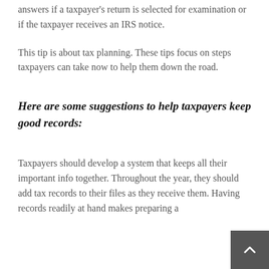answers if a taxpayer's return is selected for examination or if the taxpayer receives an IRS notice.
This tip is about tax planning. These tips focus on steps taxpayers can take now to help them down the road.
Here are some suggestions to help taxpayers keep good records:
Taxpayers should develop a system that keeps all their important info together. Throughout the year, they should add tax records to their files as they receive them. Having records readily at hand makes preparing a